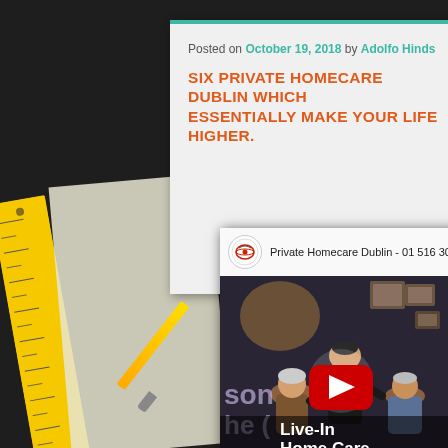Posted on October 19, 2018 by Adolfo Hinds
SIX PRIVATE HOMECARE DUBLIN WHICH ESSENTIALLY MAKE YOUR LIFE HIGHER.
[Figure (screenshot): YouTube video embed showing 'Private Homecare Dublin - 01 516 30...' with elderly people thumbnail, YouTube play button, and 'Live-In Home Care' text overlay. Channel icon with logo visible in top bar.]